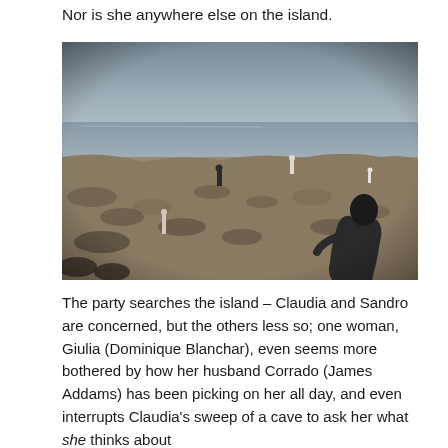Nor is she anywhere else on the island.
[Figure (photo): Black and white film still showing figures on a rocky, scrubby island landscape with the sea and sky in the background. A person in a dark jacket is visible in the foreground right, with two other figures visible further away across the terrain.]
The party searches the island – Claudia and Sandro are concerned, but the others less so; one woman, Giulia (Dominique Blanchar), even seems more bothered by how her husband Corrado (James Addams) has been picking on her all day, and even interrupts Claudia's sweep of a cave to ask her what she thinks about Corrado. After the friends come to rest on a rock...